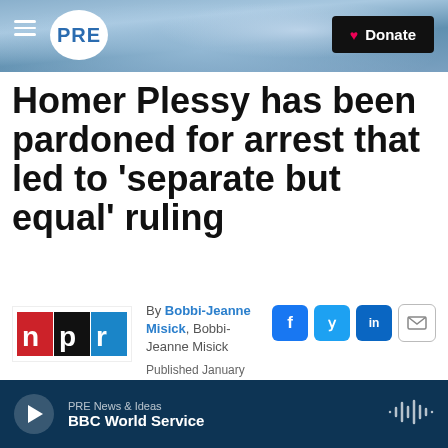PRE — Donate
Homer Plessy has been pardoned for arrest that led to 'separate but equal' ruling
By Bobbi-Jeanne Misick, Bobbi-Jeanne Misick
Published January 5, 2022 at 4:35 PM EST
PRE News & Ideas — BBC World Service